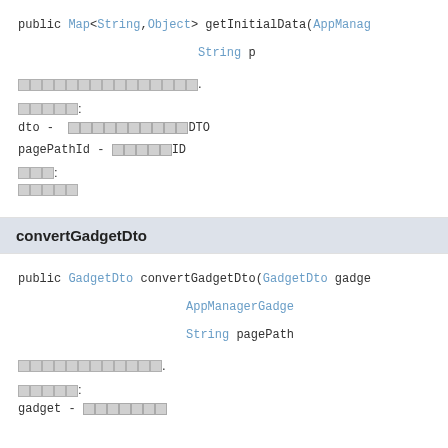public Map<String,Object> getInitialData(AppManag... String p
□□□□□□□□□□□□□□□.
□□□□□:
dto - □□□□□□□□□□DTO
pagePathId - □□□□□ID
□□□:
□□□□□
convertGadgetDto
public GadgetDto convertGadgetDto(GadgetDto gadge... AppManagerGadge... String pagePath
□□□□□□□□□□□□.
□□□□□:
gadget - □□□□□□□